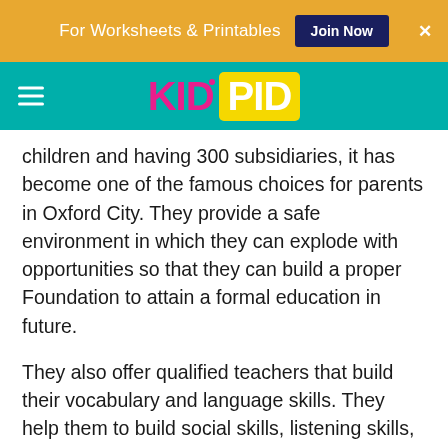For Worksheets & Printables  Join Now  ×
[Figure (logo): KidPid website logo — hamburger menu icon on left, KID in pink and PID in white text on yellow background on teal nav bar]
children and having 300 subsidiaries, it has become one of the famous choices for parents in Oxford City. They provide a safe environment in which they can explode with opportunities so that they can build a proper Foundation to attain a formal education in future.
They also offer qualified teachers that build their vocabulary and language skills. They help them to build social skills, listening skills, self-discipline, patience and much